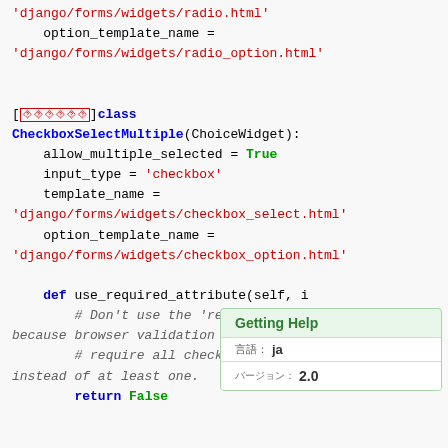Code snippet showing Django CheckboxSelectMultiple widget class definition with use_required_attribute method